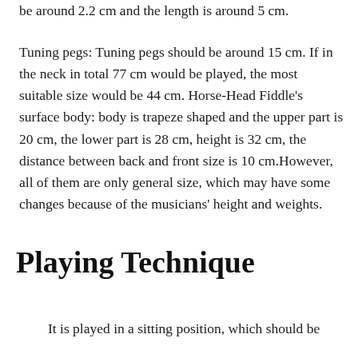be around 2.2 cm and the length is around 5 cm.
Tuning pegs: Tuning pegs should be around 15 cm. If in the neck in total 77 cm would be played, the most suitable size would be 44 cm. Horse-Head Fiddle's surface body: body is trapeze shaped and the upper part is 20 cm, the lower part is 28 cm, height is 32 cm, the distance between back and front size is 10 cm.However, all of them are only general size, which may have some changes because of the musicians' height and weights.
Playing Technique
It is played in a sitting position, which should be